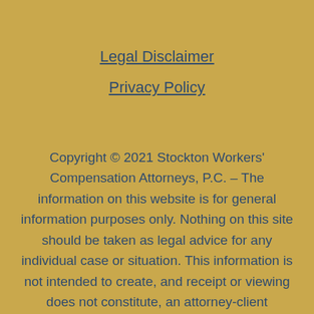Legal Disclaimer
Privacy Policy
Copyright © 2021 Stockton Workers' Compensation Attorneys, P.C. – The information on this website is for general information purposes only. Nothing on this site should be taken as legal advice for any individual case or situation. This information is not intended to create, and receipt or viewing does not constitute, an attorney-client relationship.